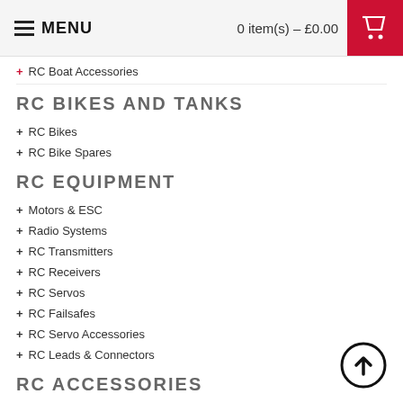MENU | 0 item(s) – £0.00
RC Boat Accessories
RC BIKES AND TANKS
RC Bikes
RC Bike Spares
RC EQUIPMENT
Motors & ESC
Radio Systems
RC Transmitters
RC Receivers
RC Servos
RC Failsafes
RC Servo Accessories
RC Leads & Connectors
RC ACCESSORIES
Batteries & Chargers
General Accessories
Nitro Related
Petrol Related
Spares & Upgrades